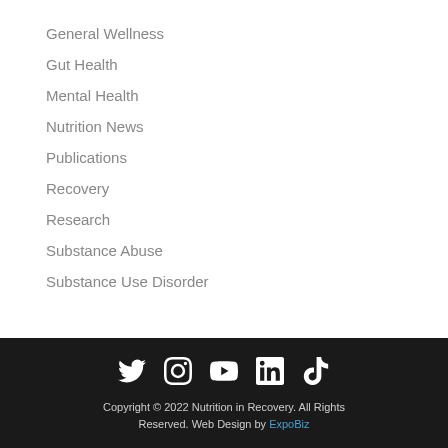General Wellness
Gut Health
Mental Health
Nutrition News
Publications
Recovery
Research
Substance Abuse
Substance Use Disorder
Copyright © 2022 Nutrition in Recovery. All Rights Reserved. Web Design by ExpoBiz